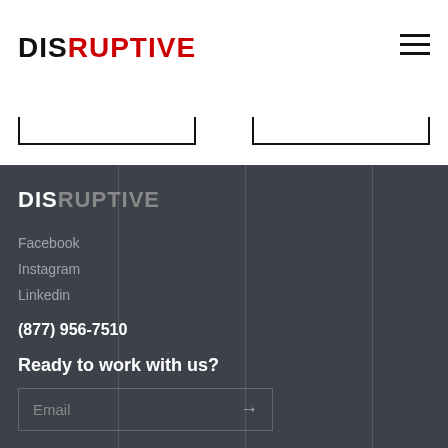[Figure (logo): DISRUPTIVE logo in black and red at top left]
[Figure (illustration): Hamburger menu icon at top right]
[Figure (illustration): Two search/input box outlines (bottom border only) in header area]
[Figure (logo): DISRUPTIVE logo in white and gray in footer]
Facebook
Instagram
Linkedin
(877) 956-7510
Ready to work with us?
Email